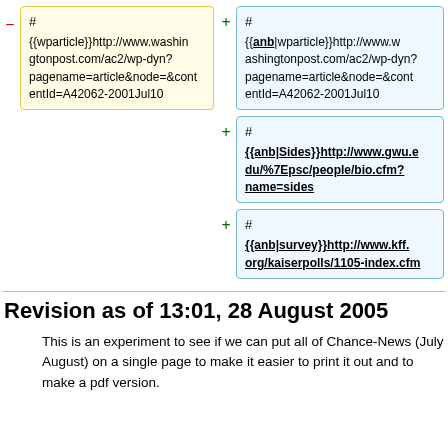# {{wparticle}}http://www.washingtonpost.com/ac2/wp-dyn?pagename=article&node=&contentId=A42062-2001Jul10
# {{anb|wparticle}}http://www.washingtonpost.com/ac2/wp-dyn?pagename=article&node=&contentId=A42062-2001Jul10
# {{anb|Sides}}http://www.gwu.edu/%7Epsc/people/bio.cfm?name=sides
# {{anb|survey}}http://www.kff.org/kaiserpolls/1105-index.cfm
Revision as of 13:01, 28 August 2005
This is an experiment to see if we can put all of Chance-News (July August) on a single page to make it easier to print it out and to make a pdf version.